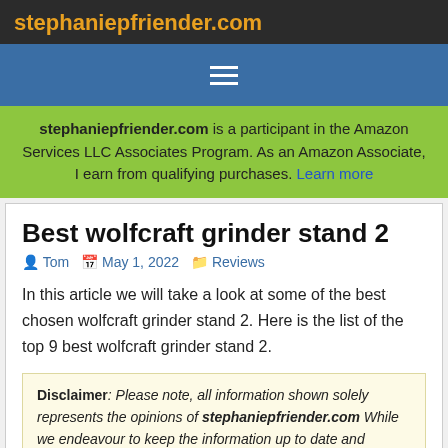stephaniepfriender.com
stephaniepfriender.com is a participant in the Amazon Services LLC Associates Program. As an Amazon Associate, I earn from qualifying purchases. Learn more
Best wolfcraft grinder stand 2
Tom   May 1, 2022   Reviews
In this article we will take a look at some of the best chosen wolfcraft grinder stand 2. Here is the list of the top 9 best wolfcraft grinder stand 2.
Disclaimer: Please note, all information shown solely represents the opinions of stephaniepfriender.com While we endeavour to keep the information up to date and correct, we make no representations or warranties of any kind, express or implied, about the completeness, accuracy